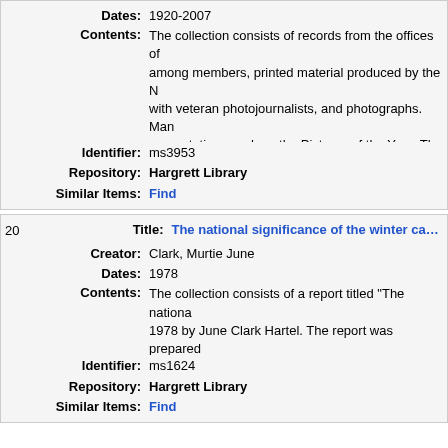Dates: 1920-2007
Contents: The collection consists of records from the offices of among members, printed material produced by the N with veteran photojournalists, and photographs. Man presentations such as the Pictures of the Year. The c Joseph Costa, founder and first president of NPPA as National Press Photographer (later retitled News Pho material were added to the collection from the late Ja 1978 to 2003. These files include a broad range of sr miscellaneous files containing documents, photos, a processed and described at the box level. The Hargr from 1947 to 1974.
Identifier: ms3953
Repository: Hargrett Library
Similar Items: Find
20 Title: The national significance of the winter campaign
Creator: Clark, Murtie June
Dates: 1978
Contents: The collection consists of a report titled "The nationa 1978 by June Clark Hartel. The report was prepared Department of Interior, National Park Service, Washi Georgia, for the primary purpose of reevaluating cert
Identifier: ms1624
Repository: Hargrett Library
Similar Items: Find